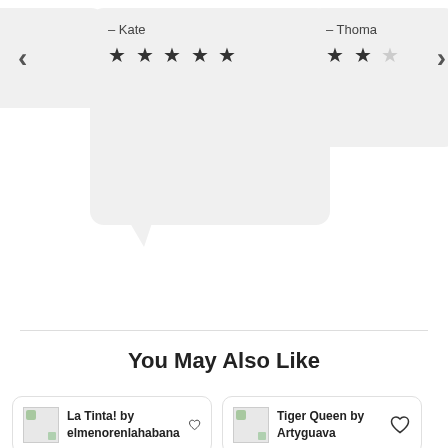[Figure (screenshot): Review carousel showing three speech bubble cards. Left card partially visible with left navigation arrow. Center card shows reviewer name '- Kate' with 5 filled stars. Right card partially visible showing reviewer name '- Thoma' with partial stars and right navigation arrow.]
You May Also Like
La Tinta! by elmenorenlahabana
Tiger Queen by Artyguava